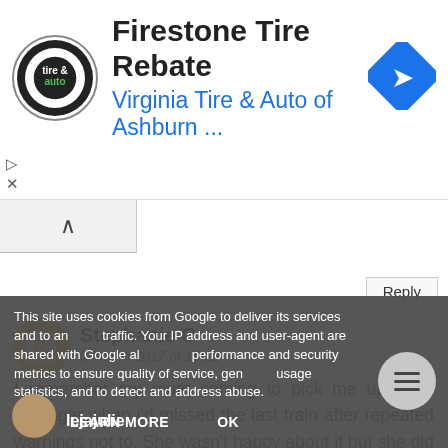[Figure (other): Advertisement banner for Firestone Tire Rebate by Virginia Tire & Auto of Ashburn with logo and navigation icon]
Reply
Stephanie C
5 March 2017 at 15:22
I remember my mum coming to pick me up as a teenager when i'd missed the last train after repeated warnings not to. She wasn't happy about it but she did it anyway and I didnt live it down for years!
This site uses cookies from Google to deliver its services and to analyze traffic. Your IP address and user-agent are shared with Google along with performance and security metrics to ensure quality of service, generate usage statistics, and to detect and address abuse.
LEARN MORE
OK
lejajulie